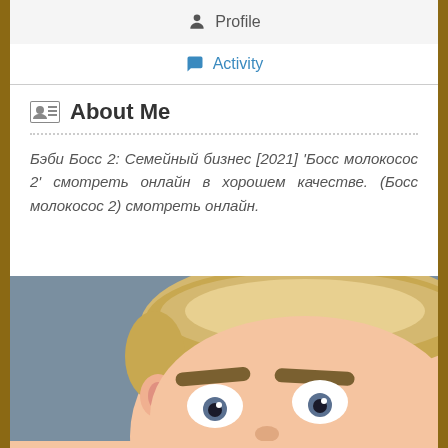Profile
Activity
About Me
Бэби Босс 2: Семейный бизнес [2021] 'Босс молокосос 2' смотреть онлайн в хорошем качестве. (Босс молокосос 2) смотреть онлайн.
[Figure (photo): A close-up photo of an animated baby boss character with blonde hair, thick eyebrows, and wide eyes, from the movie Boss Baby.]